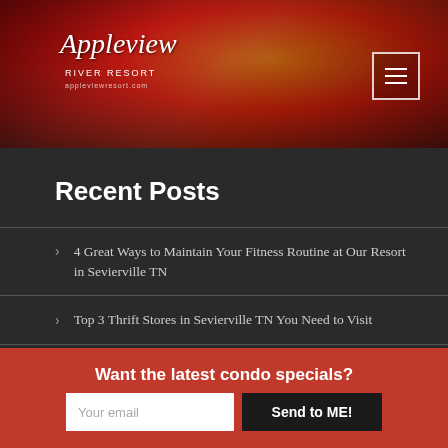[Figure (logo): Appleview River Resort logo on dark red/orange gradient background with decorative swirl design]
Recent Posts
4 Great Ways to Maintain Your Fitness Routine at Our Resort in Sevierville TN
Top 3 Thrift Stores in Sevierville TN You Need to Visit
4 Interesting Facts About Our Resort in Sevierville
4 Great Ways to Stay Cool During a Summer Visit to
Want the latest condo specials?